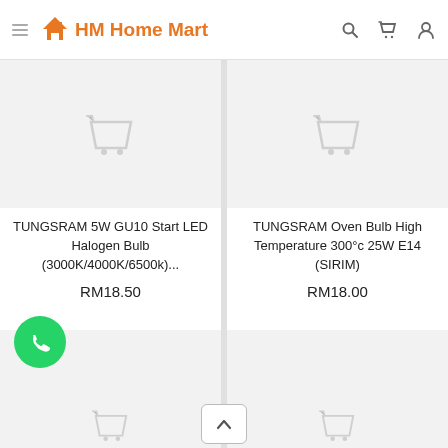HM Home Mart
[Figure (screenshot): Product image placeholder with cart icon for TUNGSRAM 5W GU10 Start LED Halogen Bulb]
TUNGSRAM 5W GU10 Start LED Halogen Bulb (3000K/4000K/6500k)...
RM18.50
[Figure (screenshot): Product image placeholder with cart icon for TUNGSRAM Oven Bulb High Temperature 300°c 25W E14 (SIRIM)]
TUNGSRAM Oven Bulb High Temperature 300°c 25W E14 (SIRIM)
RM18.00
[Figure (screenshot): Partial product image placeholder with cart icon (second row left)]
[Figure (screenshot): Partial product image placeholder with cart icon (second row right)]
[Figure (logo): WhatsApp floating action button (green circle with phone icon)]
[Figure (other): Scroll to top button with up chevron arrow]